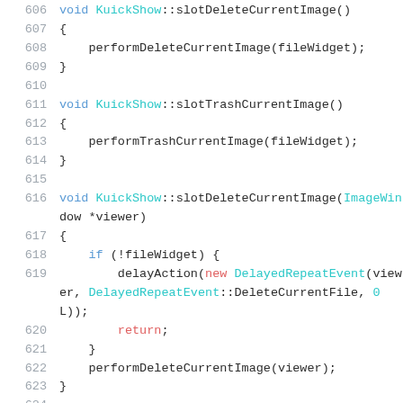[Figure (screenshot): Source code snippet showing C++ function definitions for KuickShow class methods: slotDeleteCurrentImage(), slotTrashCurrentImage(), slotDeleteCurrentImage(ImageWindow *viewer), with lines 606-625 visible. Code is syntax highlighted with line numbers.]